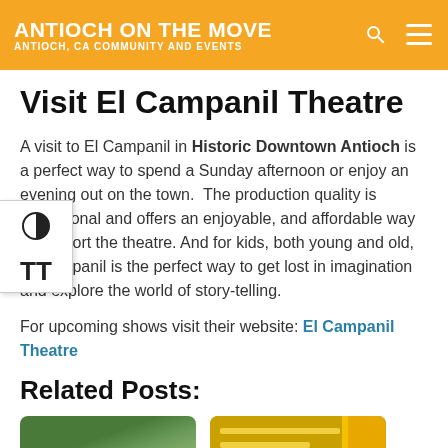ANTIOCH ON THE MOVE | ANTIOCH, CA COMMUNITY AND EVENTS
Visit El Campanil Theatre
A visit to El Campanil in Historic Downtown Antioch is a perfect way to spend a Sunday afternoon or enjoy an evening out on the town.  The production quality is exceptional and offers an enjoyable, and affordable way to support the theatre. And for kids, both young and old, El Campanil is the perfect way to get lost in imagination and explore the world of story-telling.
For upcoming shows visit their website: El Campanil Theatre
Related Posts:
[Figure (photo): Thumbnail image left - landscape/nature photo]
[Figure (photo): Thumbnail image right - graphic with yellow/gold stripes]